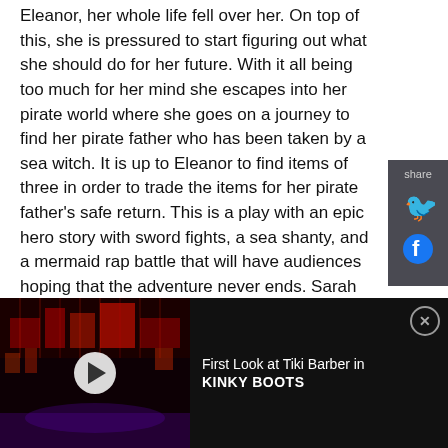Eleanor, her whole life fell over her. On top of this, she is pressured to start figuring out what she should do for her future. With it all being too much for her mind she escapes into her pirate world where she goes on a journey to find her pirate father who has been taken by a sea witch. It is up to Eleanor to find items of three in order to trade the items for her pirate father's safe return. This is a play with an epic hero story with sword fights, a sea shanty, and a mermaid rap battle that will have audiences hoping that the adventure never ends. Sarah Gray directs.
[Figure (screenshot): Dark stage production photo used as video thumbnail for 'First Look at Tiki Barber in KINKY BOOTS' with a play button overlay]
First Look at Tiki Barber in KINKY BOOTS